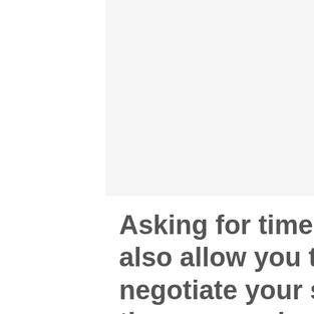[Figure (other): Light gray rectangular image placeholder area at the top of the page]
Asking for time to review the offer will also allow you to respond and negotiate your starting salary through the communication channel that's most comfortable to YOU.